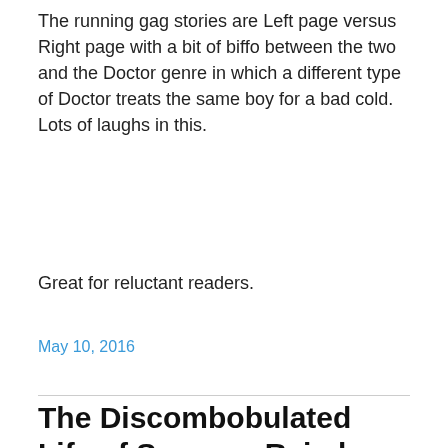The running gag stories are Left page versus Right page with a bit of biffo between the two and the Doctor genre in which a different type of Doctor treats the same boy for a bad cold. Lots of laughs in this.
Great for reluctant readers.
May 10, 2016
The Discombobulated Life of Summer Rain by Julie Lamb.
[Figure (illustration): Book cover with yellow background showing illustrated characters]